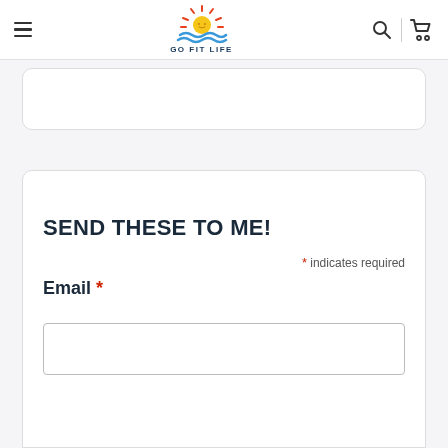Go Fit Life — navigation header with hamburger menu, logo, search, and cart icons
SEND THESE TO ME!
* indicates required
Email *
(email input field)